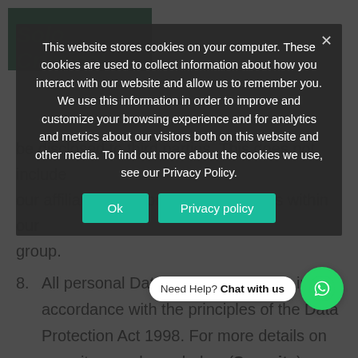[Figure (screenshot): Cookie consent banner overlay on a dark-dimmed background. The banner reads: 'This website stores cookies on your computer. These cookies are used to collect information about how you interact with our website and allow us to remember you. We use this information in order to improve and customize your browsing experience and for analytics and metrics about our visitors both on this website and other media. To find out more about the cookies we use, see our Privacy Policy.' with OK and Privacy Policy buttons. Behind are partially visible legal text list items 7, 8, 9 and a WhatsApp chat widget.]
be disclosed to third parties. This does not include our affiliates and / or other companies within our group.
8. All personal Data is stored securely in accordance with the principles of the Data Protection Act 1998. For more details on security see clause below (Security).
9. Any or all of the above Data may be required by us from time to time in order to provide you with